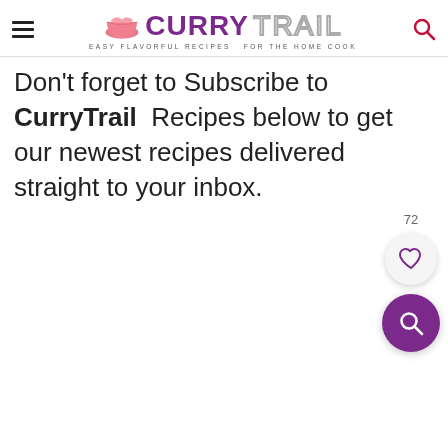[Figure (logo): Curry Trail logo with hamburger menu, bowl icon, 'CURRY TRAIL' text and tagline 'EASY FLAVORFUL RECIPES FOR THE HOME COOK', and search icon]
Don't forget to Subscribe to CurryTrail Recipes below to get our newest recipes delivered straight to your inbox.
[Figure (other): Floating like button (heart icon) with count '72' and floating purple search button]